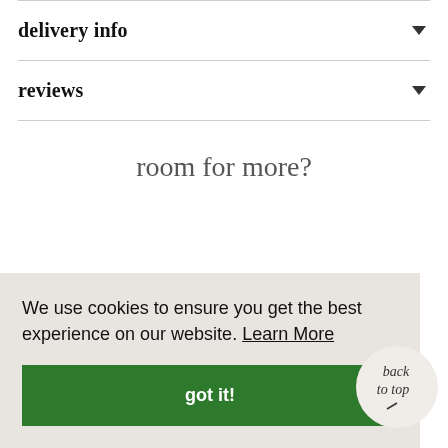delivery info
reviews
room for more?
We use cookies to ensure you get the best experience on our website. Learn More
got it!
back to top